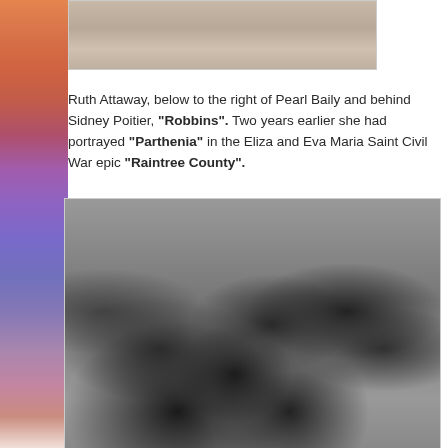[Figure (photo): Partial black and white photograph visible at top of page, appears to be a close-up portrait photo, cropped.]
Ruth Attaway, below to the right of Pearl Baily and behind Sidney Poitier, "Robbins". Two years earlier she had portrayed "Parthenia" in the Elizabeth Taylor and Eva Maria Saint Civil War epic "Raintree County".
[Figure (photo): Black and white photograph showing a group of people in what appears to be a dramatic scene. Sidney Poitier is visible in the foreground, with Ruth Attaway and Pearl Bailey also in the scene.]